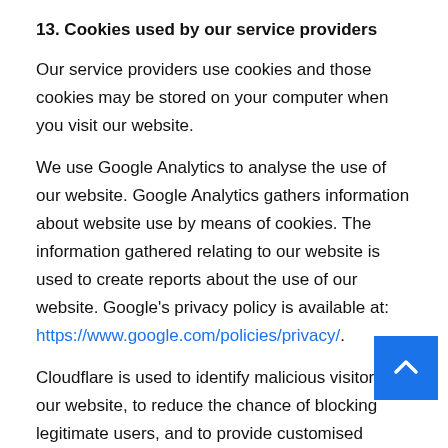13. Cookies used by our service providers
Our service providers use cookies and those cookies may be stored on your computer when you visit our website.
We use Google Analytics to analyse the use of our website. Google Analytics gathers information about website use by means of cookies. The information gathered relating to our website is used to create reports about the use of our website. Google's privacy policy is available at: https://www.google.com/policies/privacy/.
Cloudflare is used to identify malicious visitors to our website, to reduce the chance of blocking legitimate users, and to provide customised services. For these purposes, Cloudflare uses a cookie. Find out more about the Cloudflare cookies at